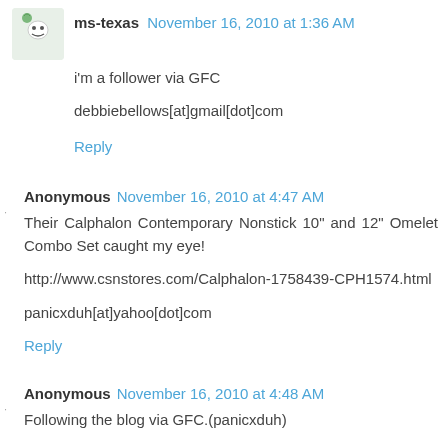ms-texas  November 16, 2010 at 1:36 AM
i'm a follower via GFC
debbiebellows[at]gmail[dot]com
Reply
Anonymous  November 16, 2010 at 4:47 AM
Their Calphalon Contemporary Nonstick 10" and 12" Omelet Combo Set caught my eye!
http://www.csnstores.com/Calphalon-1758439-CPH1574.html
panicxduh[at]yahoo[dot]com
Reply
Anonymous  November 16, 2010 at 4:48 AM
Following the blog via GFC.(panicxduh)